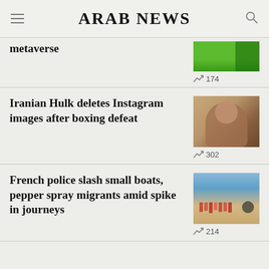ARAB NEWS
metaverse
174
Iranian Hulk deletes Instagram images after boxing defeat
302
French police slash small boats, pepper spray migrants amid spike in journeys
214